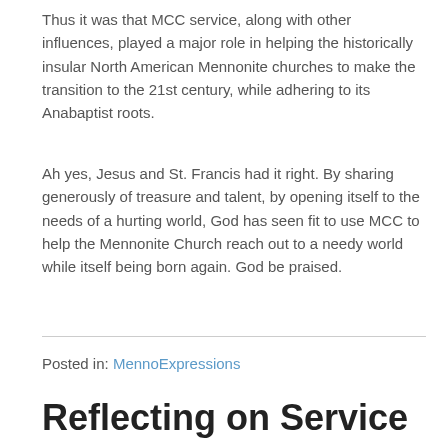Thus it was that MCC service, along with other influences, played a major role in helping the historically insular North American Mennonite churches to make the transition to the 21st century, while adhering to its Anabaptist roots.
Ah yes, Jesus and St. Francis had it right. By sharing generously of treasure and talent, by opening itself to the needs of a hurting world, God has seen fit to use MCC to help the Mennonite Church reach out to a needy world while itself being born again. God be praised.
Posted in: MennoExpressions
Reflecting on Service